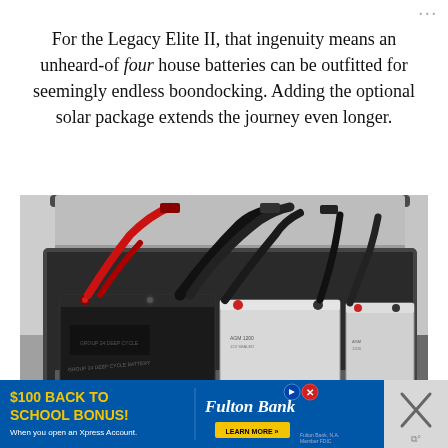For the Legacy Elite II, that ingenuity means an unheard-of four house batteries can be outfitted for seemingly endless boondocking. Adding the optional solar package extends the journey even longer.
[Figure (photo): Photo of four house batteries installed in a compartment with cables, mounted on a slide-out rail system inside an RV storage bay]
[Figure (infographic): Advertisement banner for Fulton Bank offering $100 Back to School Bonus when opening an Xpress Account, with Learn More button]